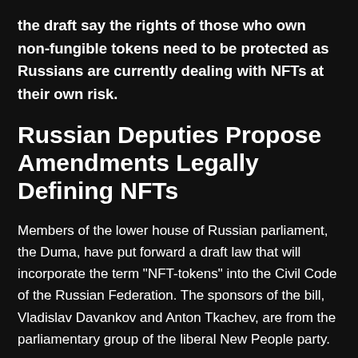the draft say the rights of those who own non-fungible tokens need to be protected as Russians are currently dealing with NFTs at their own risk.
Russian Deputies Propose Amendments Legally Defining NFTs
Members of the lower house of Russian parliament, the Duma, have put forward a draft law that will incorporate the term "NFT-tokens" into the Civil Code of the Russian Federation. The sponsors of the bill, Vladislav Davankov and Anton Tkachev, are from the parliamentary group of the liberal New People party.
The explanatory note to the bill, Tass news agency reported, states that the initiative aims to "recognize NFT-tokens as non-fungible tokens of unique digital assets (images, videos or other content) in the form of non-fungible data stored in a distributed ledger system (blockchain system)."